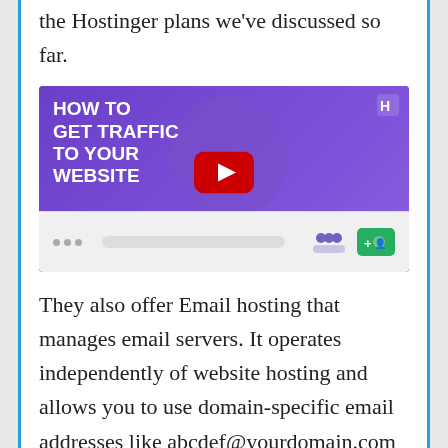the Hostinger plans we've discussed so far.
[Figure (screenshot): YouTube video thumbnail showing 'HOW TO GET TRAFFIC TO YOUR WEBSITE' on a purple background with a woman with blonde hair and a YouTube play button overlay, and a website interface shown at the bottom.]
They also offer Email hosting that manages email servers. It operates independently of website hosting and allows you to use domain-specific email addresses like abcdef@yourdomain.com